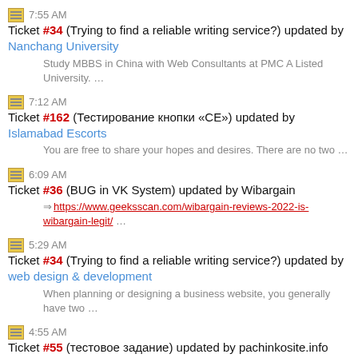7:55 AM Ticket #34 (Trying to find a reliable writing service?) updated by Nanchang University — Study MBBS in China with Web Consultants at PMC A Listed University. …
7:12 AM Ticket #162 (Тестирование кнопки «СЕ») updated by Islamabad Escorts — You are free to share your hopes and desires. There are no two …
6:09 AM Ticket #36 (BUG in VK System) updated by Wibargain — https://www.geeksscan.com/wibargain-reviews-2022-is-wibargain-legit/ …
5:29 AM Ticket #34 (Trying to find a reliable writing service?) updated by web design & development — When planning or designing a business website, you generally have two …
4:55 AM Ticket #55 (тестовое задание) updated by pachinkosite.info — Its an amazing website, really enjoy your articles. Helpful